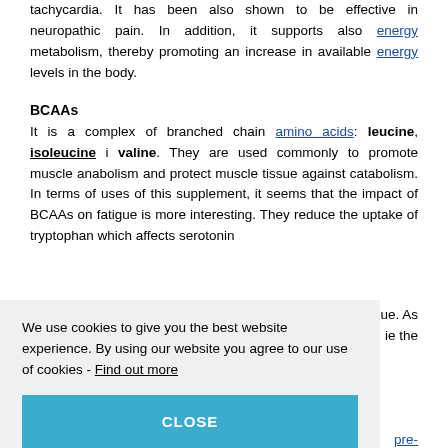tachycardia. It has been also shown to be effective in neuropathic pain. In addition, it supports also energy metabolism, thereby promoting an increase in available energy levels in the body.
BCAAs
It is a complex of branched chain amino acids: leucine, isoleucine i valine. They are used commonly to promote muscle anabolism and protect muscle tissue against catabolism. In terms of uses of this supplement, it seems that the impact of BCAAs on fatigue is more interesting. They reduce the uptake of tryptophan which affects serotonin [partially obscured] ...e the [partially obscured] pre- sively body, notes bodily
We use cookies to give you the best website experience. By using our website you agree to our use of cookies - Find out more
functions to maximise training effectiveness.